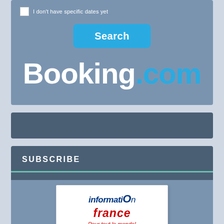[Figure (screenshot): Booking.com hotel search widget with a checkbox labeled 'I don't have specific dates yet', a blue Search button, and the Booking.com logo in white and blue on a steel blue background.]
[Figure (screenshot): Dark gray horizontal bar element, part of webpage UI.]
SUBSCRIBE
[Figure (illustration): Information France newsletter card with the text 'informatiON france Pour tout le monde!' and a small French flag image on a white card background.]
Your Number 1 Guide to France